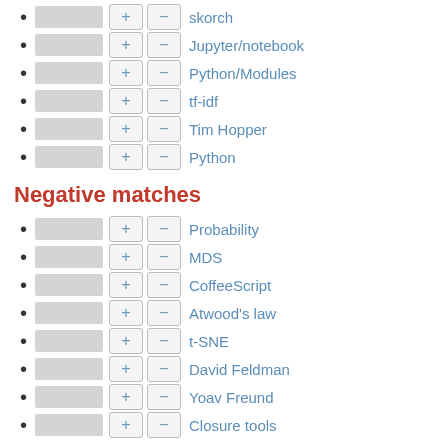skorch
Jupyter/notebook
Python/Modules
tf-idf
Tim Hopper
Python
Negative matches
Probability
MDS
CoffeeScript
Atwood's law
t-SNE
David Feldman
Yoav Freund
Closure tools